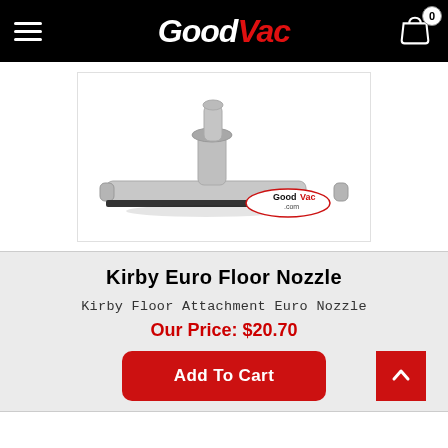GoodVac
[Figure (photo): Kirby Euro Floor Nozzle vacuum attachment — a T-shaped grey plastic floor tool with black rubber edge and GoodVac.com logo watermark]
Kirby Euro Floor Nozzle
Kirby Floor Attachment Euro Nozzle
Our Price: $20.70
Add To Cart